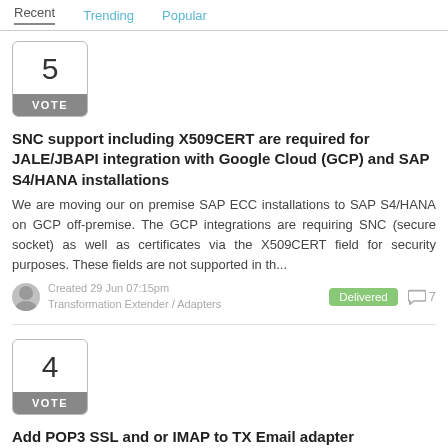Recent  Trending  Popular
[Figure (other): Vote box showing number 5 with VOTE label]
SNC support including X509CERT are required for JALE/JBAPI integration with Google Cloud (GCP) and SAP S4/HANA installations
We are moving our on premise SAP ECC installations to SAP S4/HANA on GCP off-premise. The GCP integrations are requiring SNC (secure socket) as well as certificates via the X509CERT field for security purposes. These fields are not supported in th...
Created 29 Jun 07:15pm
Transformation Extender / Adapters
Delivered  7
[Figure (other): Vote box showing number 4 with VOTE label]
Add POP3 SSL and or IMAP to TX Email adapter